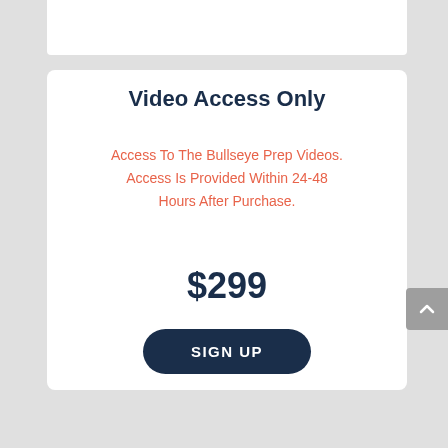Video Access Only
Access To The Bullseye Prep Videos. Access Is Provided Within 24-48 Hours After Purchase.
$299
SIGN UP